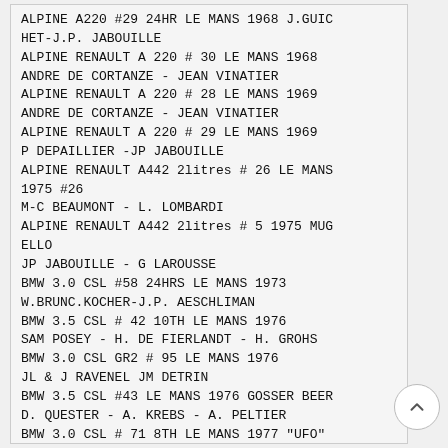ALPINE A220 #29 24HR LE MANS 1968 J.GUICHET-J.P. JABOUILLE
ALPINE RENAULT A 220 # 30 LE MANS 1968 ANDRE DE CORTANZE - JEAN VINATIER
ALPINE RENAULT A 220 # 28 LE MANS 1969 ANDRE DE CORTANZE - JEAN VINATIER
ALPINE RENAULT A 220 # 29 LE MANS 1969 P DEPAILLIER -JP JABOUILLE
ALPINE RENAULT A442 2litres # 26 LE MANS 1975 #26 M-C BEAUMONT - L. LOMBARDI
ALPINE RENAULT A442 2litres # 5 1975 MUGELLO JP JABOUILLE - G LAROUSSE
BMW 3.0 CSL #58 24HRS LE MANS 1973 W.BRUNC.KOCHER-J.P. AESCHLIMAN
BMW 3.5 CSL # 42 10TH LE MANS 1976 SAM POSEY - H. DE FIERLANDT - H. GROHS
BMW 3.0 CSL GR2 # 95 LE MANS 1976 JL & J RAVENEL JM DETRIN
BMW 3.5 CSL #43 LE MANS 1976 GOSSER BEER D. QUESTER - A. KREBS - A. PELTIER
BMW 3.0 CSL # 71 8TH LE MANS 1977 "UFO" P DIEUDONNE - S. DINI J. XHENCEVAL
BMW 3.0 CSL # 72 LE MANS 1977